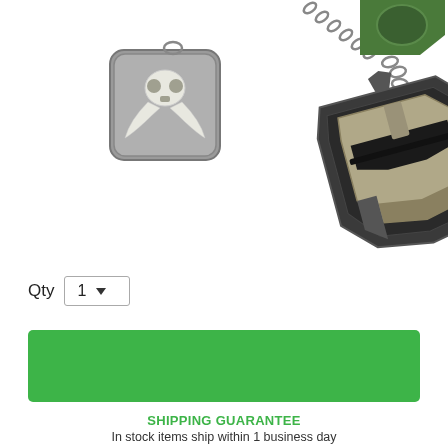[Figure (photo): Product photo showing Star Wars Mandalorian keychains/charms on a chain, including a square charm with Mandalorian skull symbol and a Boba Fett helmet-shaped charm in silver/dark metal tones.]
Qty  1
Add To Cart
SHIPPING GUARANTEE
In stock items ship within 1 business day